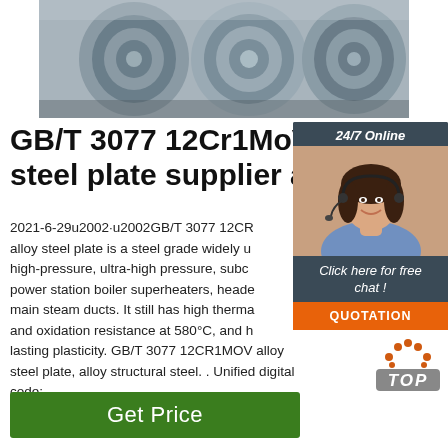[Figure (photo): Steel coil rolls stacked, industrial setting, gray metallic color]
GB/T 3077 12Cr1MoV steel plate supplier and
2021-6-29u2002·u2002GB/T 3077 12CR alloy steel plate is a steel grade widely u high-pressure, ultra-high pressure, subc power station boiler superheaters, heade main steam ducts. It still has high therma and oxidation resistance at 580°C, and h lasting plasticity. GB/T 3077 12CR1MOV alloy steel plate, alloy structural steel. . Unified digital code:
[Figure (photo): 24/7 Online chat widget with female customer service representative wearing headset, smiling]
[Figure (illustration): TOP button with orange dots above and gray TOP label]
[Figure (other): Get Price green button]